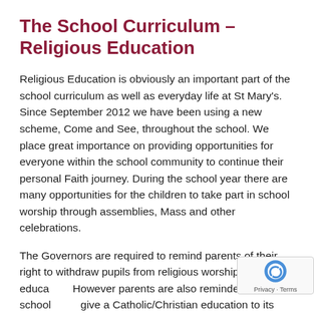The School Curriculum – Religious Education
Religious Education is obviously an important part of the school curriculum as well as everyday life at St Mary's. Since September 2012 we have been using a new scheme, Come and See, throughout the school. We place great importance on providing opportunities for everyone within the school community to continue their personal Faith journey. During the school year there are many opportunities for the children to take part in school worship through assemblies, Mass and other celebrations.
The Governors are required to remind parents of their right to withdraw pupils from religious worship and education. However parents are also reminded that the school does give a Catholic/Christian education to its pupils and